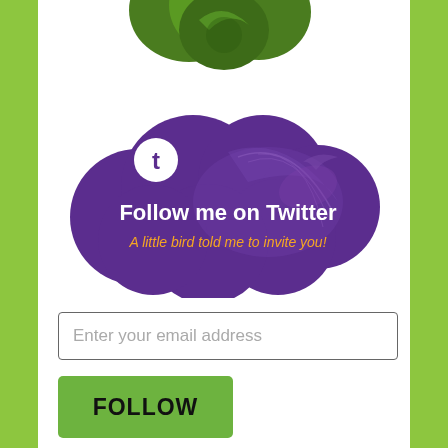[Figure (illustration): Partial green decorative graphic/logo visible at the top center of the page, cropped at the top edge]
[Figure (illustration): Purple cloud-shaped graphic with Twitter bird icon (letter t in white circle), white text 'Follow me on Twitter' and orange italic text 'A little bird told me to invite you!' with botanical decorative pattern]
Enter your email address
FOLLOW